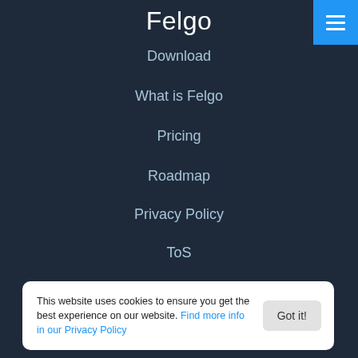Felgo
Download
What is Felgo
Pricing
Roadmap
Privacy Policy
ToS
Jobs
Contact Us
Products
This website uses cookies to ensure you get the best experience on our website. Find more info in our Privacy Policy